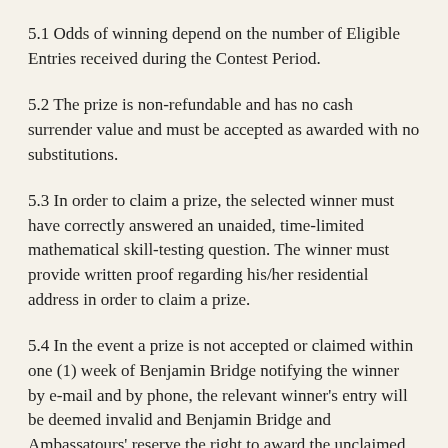5.1 Odds of winning depend on the number of Eligible Entries received during the Contest Period.
5.2 The prize is non-refundable and has no cash surrender value and must be accepted as awarded with no substitutions.
5.3 In order to claim a prize, the selected winner must have correctly answered an unaided, time-limited mathematical skill-testing question. The winner must provide written proof regarding his/her residential address in order to claim a prize.
5.4 In the event a prize is not accepted or claimed within one (1) week of Benjamin Bridge notifying the winner by e-mail and by phone, the relevant winner's entry will be deemed invalid and Benjamin Bridge and Ambassatours' reserve the right to award the unclaimed prize to another